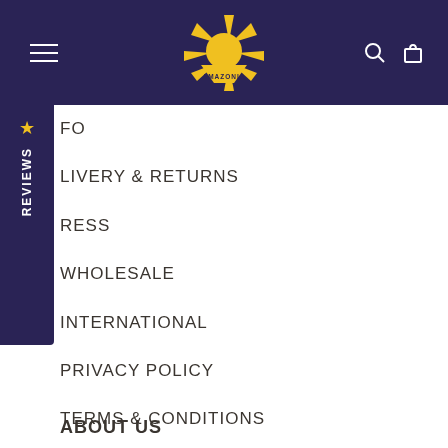[Figure (logo): Amazonia sun logo in yellow on dark navy background with hamburger menu icon on left and search/cart icons on right]
INFO
DELIVERY & RETURNS
PRESS
WHOLESALE
INTERNATIONAL
PRIVACY POLICY
TERMS & CONDITIONS
ABOUT US